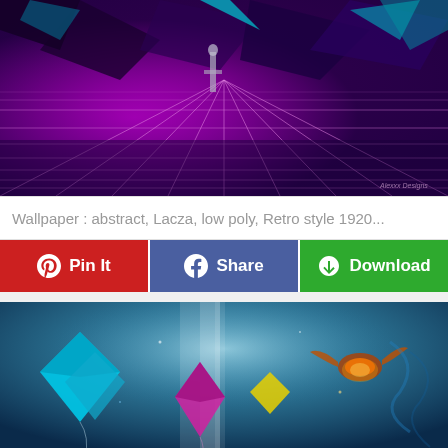[Figure (illustration): Abstract low-poly retro style digital art with purple and magenta tones, geometric shapes, and a perspective grid. Dark crystalline structures and a figure visible in the upper portion against a vibrant purple/magenta background.]
Wallpaper : abstract, Lacza, low poly, Retro style 1920...
[Figure (infographic): Three social sharing buttons in a row: red Pinterest 'Pin It' button, blue Facebook 'Share' button, and green 'Download' button with cloud icon.]
[Figure (illustration): Fantasy illustration featuring colorful kites (cyan/blue diamond kite, pink/magenta kite, yellow shape) floating in a misty blue atmospheric scene with a glowing bird/phoenix on the right side.]